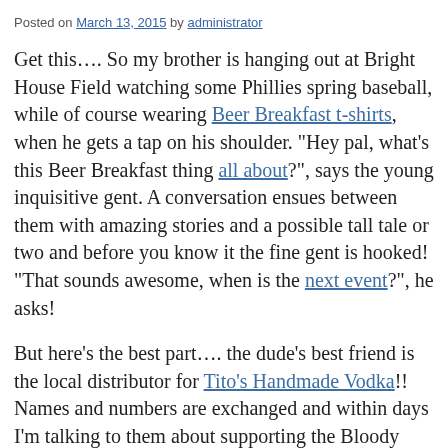Posted on March 13, 2015 by administrator
Get this…. So my brother is hanging out at Bright House Field watching some Phillies spring baseball, while of course wearing Beer Breakfast t-shirts, when he gets a tap on his shoulder. "Hey pal, what's this Beer Breakfast thing all about?", says the young inquisitive gent. A conversation ensues between them with amazing stories and a possible tall tale or two and before you know it the fine gent is hooked! "That sounds awesome, when is the next event?", he asks!
But here's the best part…. the dude's best friend is the local distributor for Tito's Handmade Vodka!! Names and numbers are exchanged and within days I'm talking to them about supporting the Bloody Mary Bar at our next Beer Breakfast Event at the Mandarin Hide. Life is grand my friends, and we welcome our new sponsor, Tito's Handmade Vodka to the Revelry~Fellowship~S